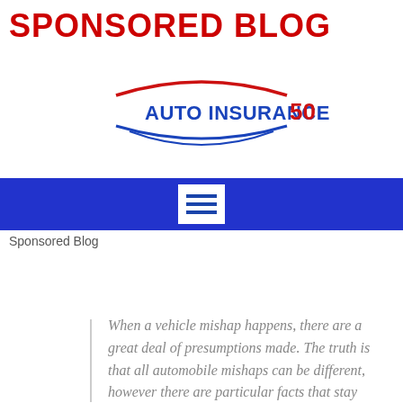SPONSORED BLOG
[Figure (logo): Auto Insurance 50 logo with red and blue curved lines and text]
[Figure (other): Navigation bar with hamburger menu button on blue background]
Sponsored Blog
When a vehicle mishap happens, there are a great deal of presumptions made. The truth is that all automobile mishaps can be different, however there are particular facts that stay through